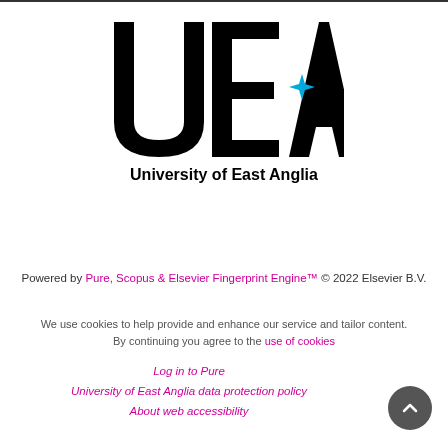[Figure (logo): University of East Anglia (UEA) logo — large black serif letters U, E, A with a blue four-pointed star accent, and the text 'University of East Anglia' below in bold black sans-serif]
Powered by Pure, Scopus & Elsevier Fingerprint Engine™ © 2022 Elsevier B.V.
We use cookies to help provide and enhance our service and tailor content. By continuing you agree to the use of cookies
Log in to Pure
University of East Anglia data protection policy
About web accessibility